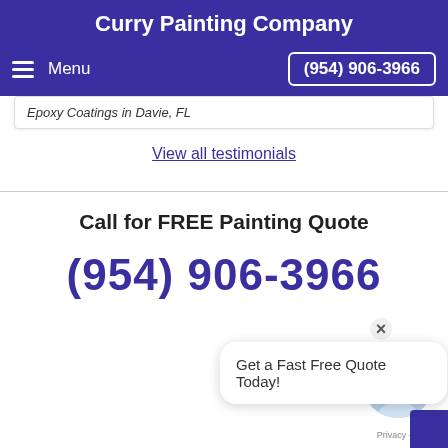Curry Painting Company
Menu | (954) 906-3966
Epoxy Coatings in Davie, FL
View all testimonials
Call for FREE Painting Quote
(954) 906-3966
Get a Fast Free Quote Today!
Privacy · Terms